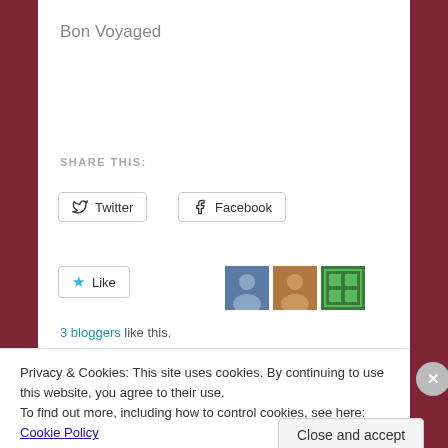Bon Voyaged
SHARE THIS:
Twitter
Facebook
Like
3 bloggers like this.
Published by sarah18791
View all posts by sarah18791
Privacy & Cookies: This site uses cookies. By continuing to use this website, you agree to their use.
To find out more, including how to control cookies, see here: Cookie Policy
Close and accept